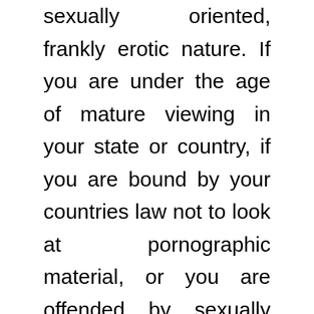sexually oriented, frankly erotic nature. If you are under the age of mature viewing in your state or country, if you are bound by your countries law not to look at pornographic material, or you are offended by sexually explicit material or live webcam sex, you are not to enter this site any further than this page. Disclaimer: All persons who appear in any visual depiction contained in this site or any of our sites were/are eighteen years of age or older at the time of the creation of such depictions. The records required by Section 2257 of Title 18 of the United States Code with respect to visual depictions of actual sexually explicit conduct are owned by the Custodian